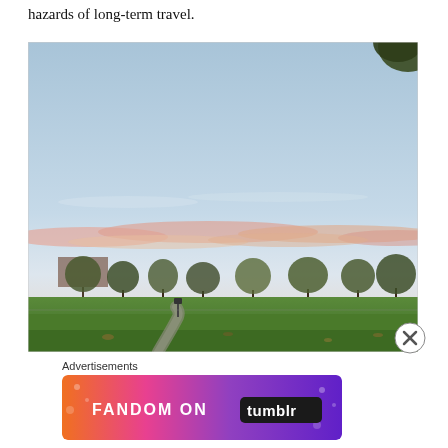hazards of long-term travel.
[Figure (photo): Outdoor park scene at dusk/dawn with a wide green lawn, bare autumn trees silhouetted against a sky with pink and orange clouds near the horizon and blue sky above.]
Advertisements
[Figure (illustration): Fandom on Tumblr advertisement banner with colorful gradient background (orange, pink, purple) and decorative fan art icons. Text reads 'FANDOM ON tumblr'.]